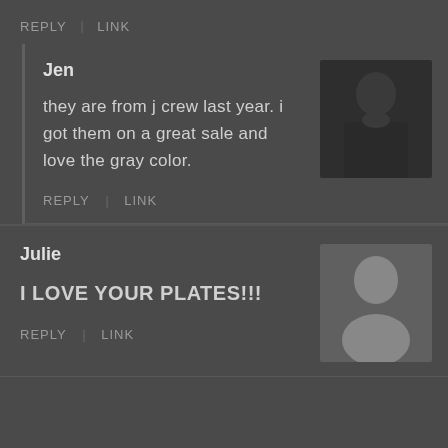REPLY  LINK
Jen
they are from j crew last year. i got them on a great sale and love the gray color.
[Figure (photo): Avatar photo of Jen, a woman in a dark top against dark background]
REPLY  LINK
Julie
I LOVE YOUR PLATES!!!
[Figure (photo): Default gray avatar silhouette for Julie]
REPLY  LINK